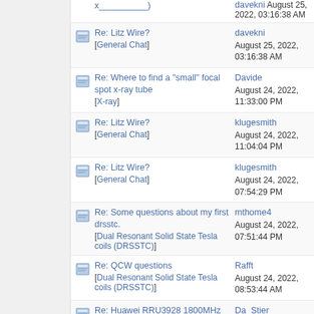Re: Litz Wire? [General Chat] | davekni | August 25, 2022, 03:16:38 AM
Re: Where to find a "small" focal spot x-ray tube [X-ray] | Davide | August 24, 2022, 11:33:00 PM
Re: Litz Wire? [General Chat] | klugesmith | August 24, 2022, 11:04:04 PM
Re: Litz Wire? [General Chat] | klugesmith | August 24, 2022, 07:54:29 PM
Re: Some questions about my first drsstc. [Dual Resonant Solid State Tesla coils (DRSSTC)] | mthome4 | August 24, 2022, 07:51:44 PM
Re: QCW questions [Dual Resonant Solid State Tesla coils (DRSSTC)] | Rafft | August 24, 2022, 08:53:44 AM
Re: Huawei RRU3928 1800MHz radio base station teardown (part 1 and 2) [Radio Frequency] | Da_Stier | August 24, 2022, 08:06:23 AM
Re: QCW questions [Dual Resonant Solid State Tesla coils (DRSSTC)] | davekni | August 24, 2022, 05:47:59 AM
Re: QCW questions [Dual Resonant Solid State Tesla coils (DRSSTC)] | Rafft | August 24, 2022, ...